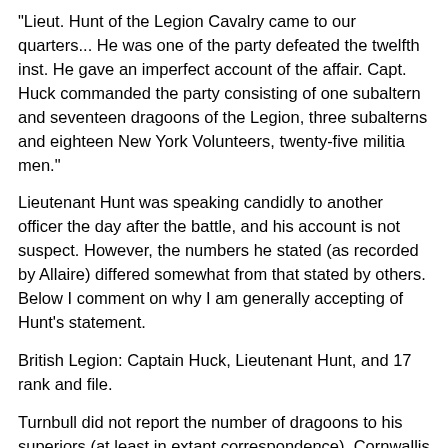"Lieut. Hunt of the Legion Cavalry came to our quarters... He was one of the party defeated the twelfth inst. He gave an imperfect account of the affair. Capt. Huck commanded the party consisting of one subaltern and seventeen dragoons of the Legion, three subalterns and eighteen New York Volunteers, twenty-five militia men."
Lieutenant Hunt was speaking candidly to another officer the day after the battle, and his account is not suspect. However, the numbers he stated (as recorded by Allaire) differed somewhat from that stated by others. Below I comment on why I am generally accepting of Hunt's statement.
British Legion: Captain Huck, Lieutenant Hunt, and 17 rank and file.
Turnbull did not report the number of dragoons to his superiors (at least in extant correspondence). Cornwallis reported to Clinton that the number of dragoons was between 30 and 40. Cornwallis may have given this number because he knew this to be the approximate strength of Huck's troop and he assumed (not having been told otherwise) that all of Huck's dragoons were present [see